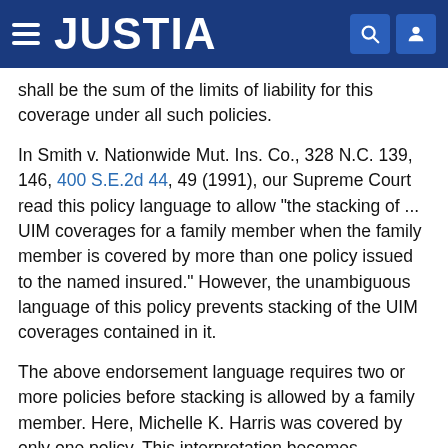JUSTIA
shall be the sum of the limits of liability for this coverage under all such policies.
In Smith v. Nationwide Mut. Ins. Co., 328 N.C. 139, 146, 400 S.E.2d 44, 49 (1991), our Supreme Court read this policy language to allow "the stacking of ... UIM coverages for a family member when the family member is covered by more than one policy issued to the named insured." However, the unambiguous language of this policy prevents stacking of the UIM coverages contained in it.
The above endorsement language requires two or more policies before stacking is allowed by a family member. Here, Michelle K. Harris was covered by only one policy. This interpretation becomes irrefutable in light of the policy definition of "limit of liability" which limits the